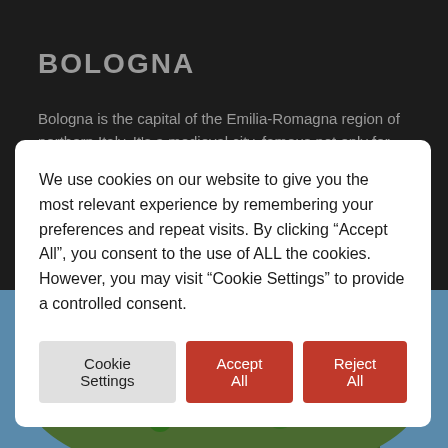BOLOGNA
Bologna is the capital of the Emilia-Romagna region of northern Italy. It's a medieval city, famous not only for its
We use cookies on our website to give you the most relevant experience by remembering your preferences and repeat visits. By clicking “Accept All”, you consent to the use of ALL the cookies. However, you may visit “Cookie Settings” to provide a controlled consent.
[Figure (photo): Aerial view of a lush green Italian landscape with historic buildings, gardens, and surrounding blue water, likely an island or lakeside location.]